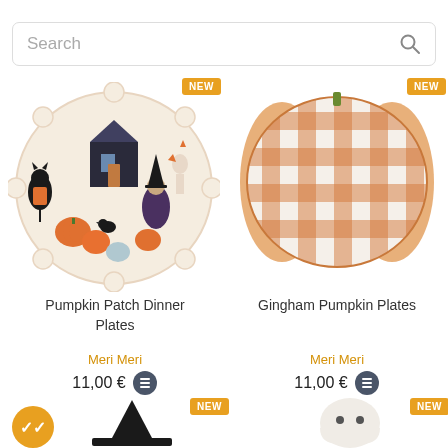[Figure (screenshot): Search bar with placeholder text 'Search' and search icon on the right]
[Figure (photo): Pumpkin Patch Dinner Plate – decorative plate with Halloween scene: black cat, haunted house, witch, skeleton, and pumpkins]
[Figure (photo): Gingham Pumpkin Plate – pumpkin-shaped plate with orange and white gingham/check pattern]
Pumpkin Patch Dinner Plates
Gingham Pumpkin Plates
Meri Meri
11,00 €
Meri Meri
11,00 €
[Figure (photo): Bottom-left product: witch hat (black pointed hat) with NEW badge]
[Figure (photo): Bottom-right product: white ghost figure with NEW badge]
[Figure (infographic): Orange circular check/confirmation badge with double checkmark]